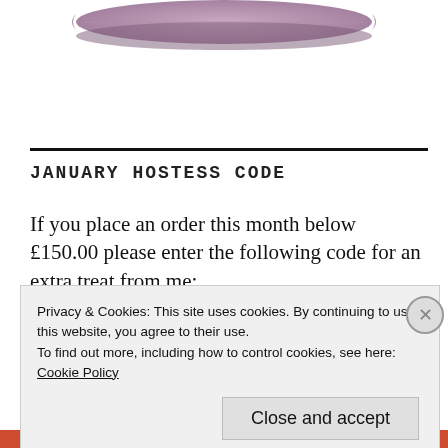[Figure (photo): Partial view of a purple/mauve decorative pillow at the top of the page]
JANUARY HOSTESS CODE
If you place an order this month below £150.00 please enter the following code for an extra treat from me:
Privacy & Cookies: This site uses cookies. By continuing to use this website, you agree to their use.
To find out more, including how to control cookies, see here:
Cookie Policy
Close and accept